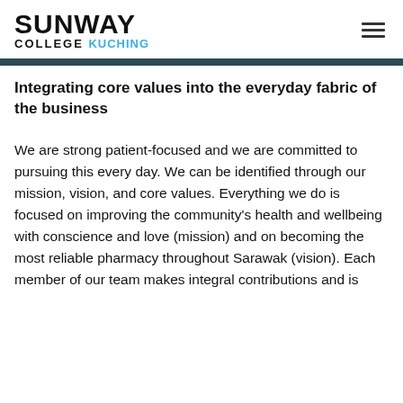SUNWAY COLLEGE Kuching
Integrating core values into the everyday fabric of the business
We are strong patient-focused and we are committed to pursuing this every day. We can be identified through our mission, vision, and core values. Everything we do is focused on improving the community's health and wellbeing with conscience and love (mission) and on becoming the most reliable pharmacy throughout Sarawak (vision). Each member of our team makes integral contributions and is